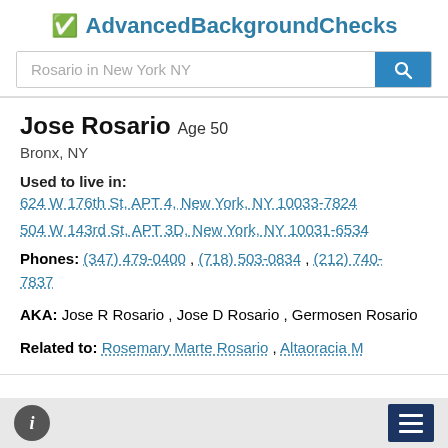AdvancedBackgroundChecks
[Figure (screenshot): Search bar with placeholder text 'Rosario in New York NY' and a blue search button with magnifying glass icon]
Jose Rosario Age 50
Bronx, NY
Used to live in:
624 W 176th St, APT 4, New York, NY 10033-7824
504 W 143rd St, APT 3D, New York, NY 10031-6534
Phones: (347) 479-0400 , (718) 503-0834 , (212) 740-7837
AKA: Jose R Rosario , Jose D Rosario , Germosen Rosario
Related to: Rosemary Marte Rosario , Altaoracia M
i  ≡